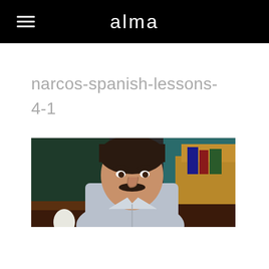alma
narcos-spanish-lessons-4-1
[Figure (photo): A man with a mustache wearing a light-colored button-up shirt, leaning forward with a serious expression. Background shows a darkened room with furniture and colorful items on shelves.]